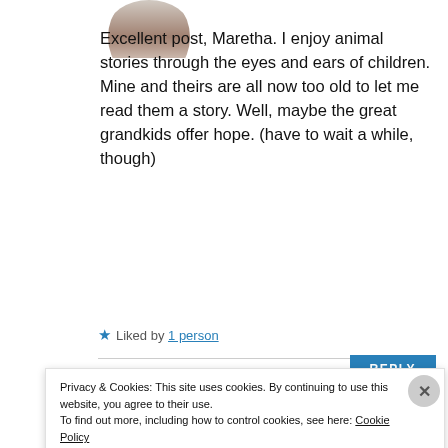[Figure (photo): Partial avatar photo of a person, cropped at top, showing upper body]
Excellent post, Maretha. I enjoy animal stories through the eyes and ears of children. Mine and theirs are all now too old to let me read them a story. Well, maybe the great grandkids offer hope. (have to wait a while, though)
★ Liked by 1 person
REPLY
[Figure (photo): Partial avatar photo of another person, partially visible at bottom]
Privacy & Cookies: This site uses cookies. By continuing to use this website, you agree to their use.
To find out more, including how to control cookies, see here: Cookie Policy
Close and accept